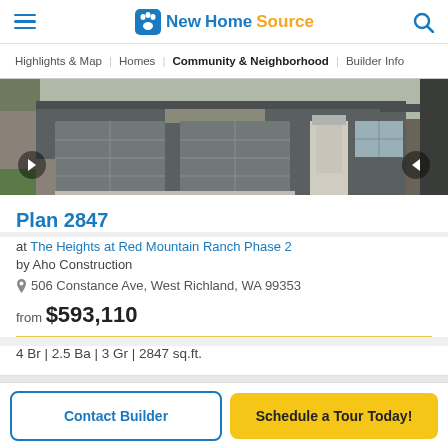NewHomeSource
Highlights & Map | Homes | Community & Neighborhood | Builder Info
[Figure (photo): Front exterior of a single-story home with two-car garage and stone accents]
Plan 2847
at The Heights at Red Mountain Ranch Phase 2
by Aho Construction
506 Constance Ave, West Richland, WA 99353
from $593,110
4 Br | 2.5 Ba | 3 Gr | 2847 sq.ft.
Contact Builder
Schedule a Tour Today!